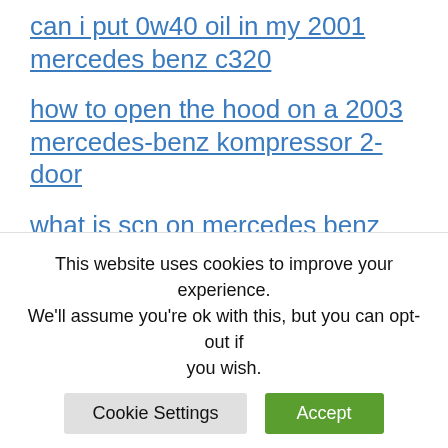can i put 0w40 oil in my 2001 mercedes benz c320
how to open the hood on a 2003 mercedes-benz kompressor 2-door
what is scn on mercedes benz
how to add phone to mercedes-benz w211
what is the oem part number for a 2017 mercedes benz gle350 keyless entry remote smart key fob
This website uses cookies to improve your experience. We'll assume you're ok with this, but you can opt-out if you wish.